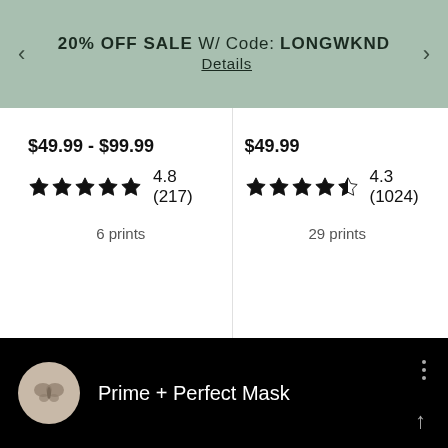20% OFF SALE W/ Code: LONGWKND Details
$49.99 - $99.99
★★★★★ 4.8 (217)
6 prints
$49.99
★★★★✩ 4.3 (1024)
29 prints
Prime + Perfect Mask